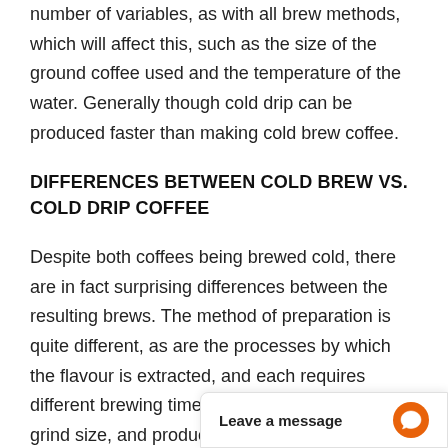number of variables, as with all brew methods, which will affect this, such as the size of the ground coffee used and the temperature of the water. Generally though cold drip can be produced faster than making cold brew coffee.
DIFFERENCES BETWEEN COLD BREW VS. COLD DRIP COFFEE
Despite both coffees being brewed cold, there are in fact surprising differences between the resulting brews. The method of preparation is quite different, as are the processes by which the flavour is extracted, and each requires different brewing times, different equipment, grind size, and produces coffee of different strength, taste and flavour. Of course, taste is also determined b
BREWING METHO